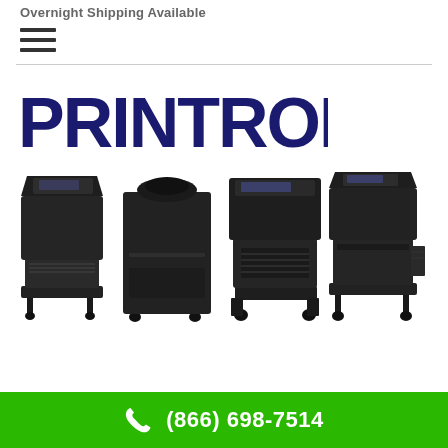Overnight Shipping Available
[Figure (logo): Hamburger menu icon (three horizontal lines)]
[Figure (logo): PRINTRONIX logo in dark navy blue bold text]
[Figure (photo): Four black Printronix industrial line matrix printers on wheeled stands, shown side by side]
(866) 698-7514